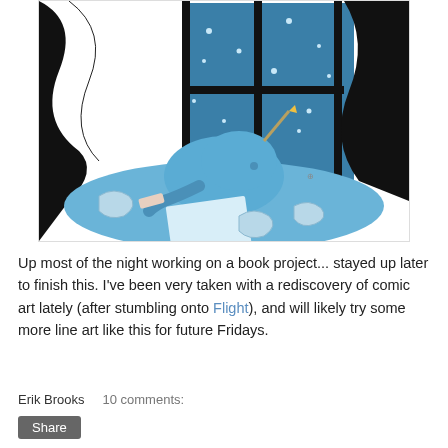[Figure (illustration): Comic-style blue illustration of a small rounded character asleep or resting on a desk, drawing or writing with a pencil, surrounded by crumpled papers. A dark window with a night sky and falling snow is visible in the background. The scene is rendered in blue tones.]
Up most of the night working on a book project... stayed up later to finish this. I've been very taken with a rediscovery of comic art lately (after stumbling onto Flight), and will likely try some more line art like this for future Fridays.
Erik Brooks   10 comments:
Share